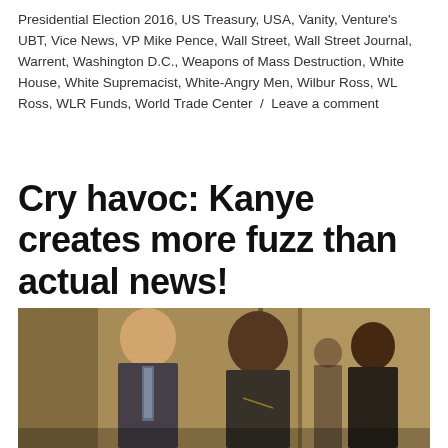Presidential Election 2016, US Treasury, USA, Vanity, Venture's UBT, Vice News, VP Mike Pence, Wall Street, Wall Street Journal, Warrent, Washington D.C., Weapons of Mass Destruction, White House, White Supremacist, White-Angry Men, Wilbur Ross, WL Ross, WLR Funds, World Trade Center / Leave a comment
Cry havoc: Kanye creates more fuzz than actual news!
[Figure (photo): Photo of two men standing together in what appears to be a gold-toned lobby interior; a third man is visible in the background to the right.]